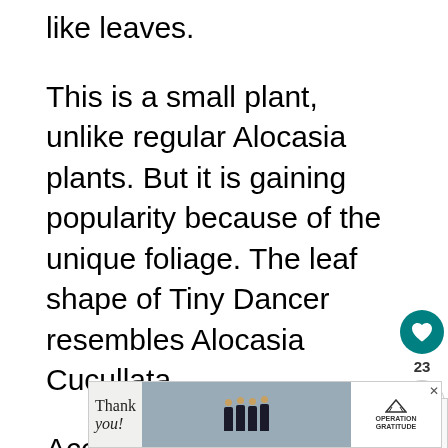like leaves.
This is a small plant, unlike regular Alocasia plants. But it is gaining popularity because of the unique foliage. The leaf shape of Tiny Dancer resembles Alocasia Cucullata.
According to the International Aroid Society, this plant is awarded as the most unusual aroid. This plant c from the United States, and it was first in d by
[Figure (screenshot): Advertisement banner: Thank you with Operation Gratitude logo and firefighters photo]
[Figure (infographic): Social media sidebar UI with heart button (23 likes) and share button, plus What's Next widget showing Alocasia Cucullata #1...]